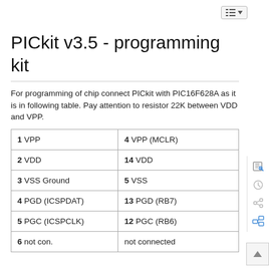PICkit v3.5 - programming kit
For programming of chip connect PICkit with PIC16F628A as it is in following table. Pay attention to resistor 22K between VDD and VPP.
| 1 VPP | 4 VPP (MCLR) |
| 2 VDD | 14 VDD |
| 3 VSS Ground | 5 VSS |
| 4 PGD (ICSPDAT) | 13 PGD (RB7) |
| 5 PGC (ICSPCLK) | 12 PGC (RB6) |
| 6 not con. | not connected |